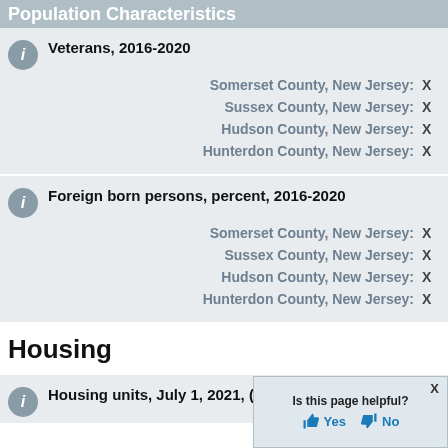Population Characteristics
Veterans, 2016-2020
Somerset County, New Jersey: X
Sussex County, New Jersey: X
Hudson County, New Jersey: X
Hunterdon County, New Jersey: X
Foreign born persons, percent, 2016-2020
Somerset County, New Jersey: X
Sussex County, New Jersey: X
Hudson County, New Jersey: X
Hunterdon County, New Jersey: X
Housing
Housing units, July 1, 2021, (V2021)